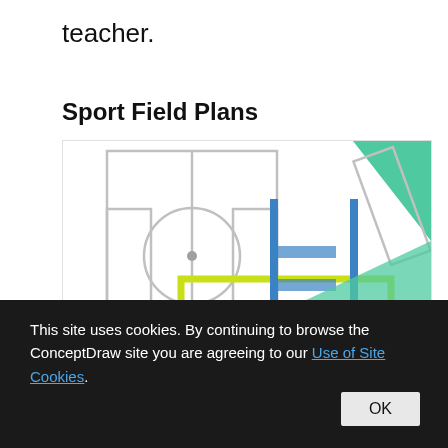teacher.
Sport Field Plans
[Figure (illustration): Sport Field Plans diagram showing overhead views of various sports fields including a soccer/football field with center circle, a basketball/tennis court with yellow-green borders, blue vertical goal posts, and a teal triangular court element in the upper right. Text 'Sport Field Plans' in teal overlaid on the image.]
This site uses cookies. By continuing to browse the ConceptDraw site you are agreeing to our Use of Site Cookies.